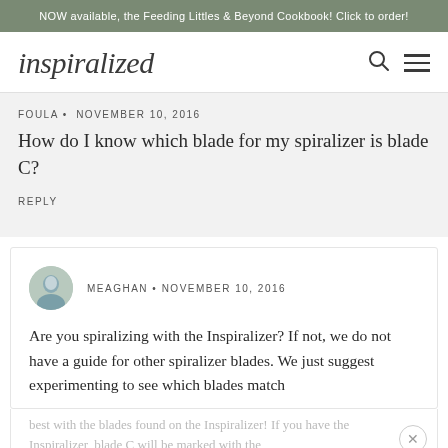NOW available, the Feeding Littles & Beyond Cookbook! Click to order!
inspiralized
FOULA • NOVEMBER 10, 2016
How do I know which blade for my spiralizer is blade C?
REPLY
MEAGHAN • NOVEMBER 10, 2016
Are you spiralizing with the Inspiralizer? If not, we do not have a guide for other spiralizer blades. We just suggest experimenting to see which blades match best with the blades found on the Inspiralizer! If you have the Inspiralizer, blade C will be marked with the